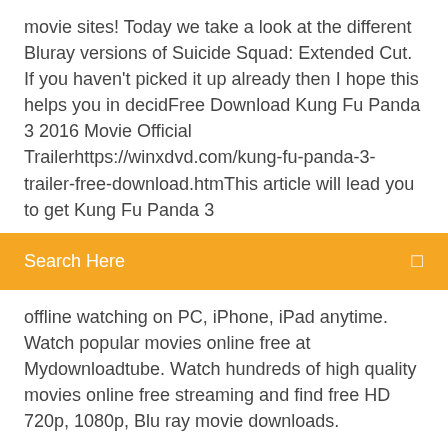movie sites! Today we take a look at the different Bluray versions of Suicide Squad: Extended Cut. If you haven't picked it up already then I hope this helps you in decidFree Download Kung Fu Panda 3 2016 Movie Official Trailerhttps://winxdvd.com/kung-fu-panda-3-trailer-free-download.htmThis article will lead you to get Kung Fu Panda 3
Search Here
offline watching on PC, iPhone, iPad anytime. Watch popular movies online free at Mydownloadtube. Watch hundreds of high quality movies online free streaming and find free HD 720p, 1080p, Blu ray movie downloads.
19 Jan 2016 Worst. Heroes. Ever. See SUICIDE SQUAD in theaters August 5th. http://www.suicidesquad.com http://facebook.com/SuicideSquad
poorna movie hindi film — Poorna Movie Download In Hindi Mp4 Movies >>> http://bit.ly/39Af4NP — Poorna: (2017) or Poorna is